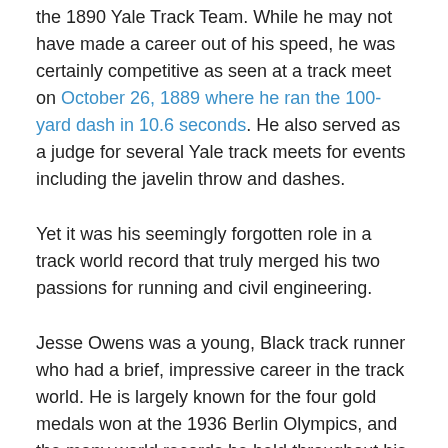the 1890 Yale Track Team. While he may not have made a career out of his speed, he was certainly competitive as seen at a track meet on October 26, 1889 where he ran the 100-yard dash in 10.6 seconds. He also served as a judge for several Yale track meets for events including the javelin throw and dashes.
Yet it was his seemingly forgotten role in a track world record that truly merged his two passions for running and civil engineering.
Jesse Owens was a young, Black track runner who had a brief, impressive career in the track world. He is largely known for the four gold medals won at the 1936 Berlin Olympics, and the many world records he held throughout his career. Perhaps most notably, at a May 25, 1935, collegiate track meet at the University of Michigan's Ferry Field, Owens broke four world records in the timeframe of 45 minutes. Today, Owens is also known as the first man to ever run the 100-meter dash in 10.2 seconds, setting a record that stood until Willie Williams ran it in 10.1 seconds two decades later. Owens held the 100-meter